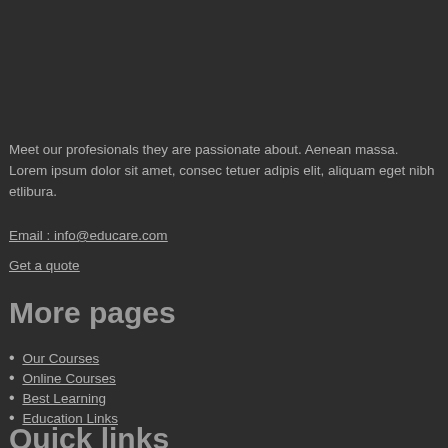Meet our profesionals they are passionate about. Aenean massa. Lorem ipsum dolor sit amet, consec tetuer adipis elit, aliquam eget nibh etlibura.
Email : info@educare.com
Get a quote
More pages
Our Courses
Online Courses
Best Learning
Education Links
Quick links